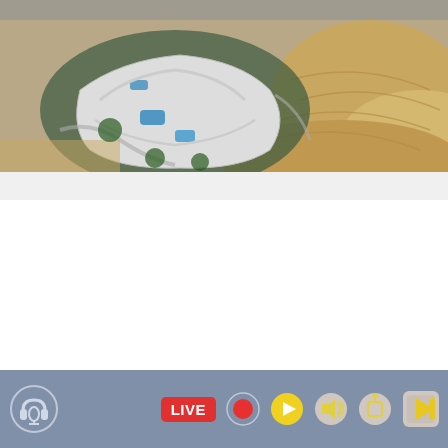[Figure (photo): Aerial view of a large resort complex surrounded by sand dunes and beach, taken from above at sunset/golden hour]
[Figure (photo): Wide-angle aerial view of the same resort complex with sand dunes, shot at sunset with dramatic sky]
Policia Nacional have arrested a British man of 28
[Figure (infographic): Media player toolbar with headphone icon, LIVE badge, record, play, volume, edit, and exit buttons on a blue-grey background]